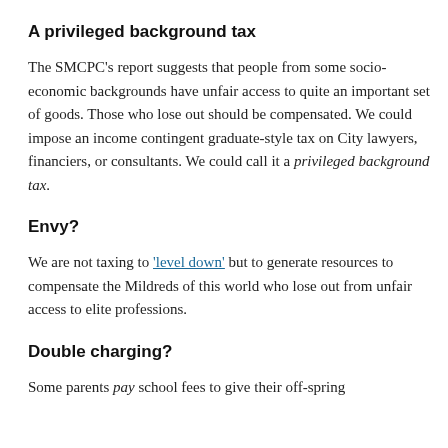A privileged background tax
The SMCPC's report suggests that people from some socio-economic backgrounds have unfair access to quite an important set of goods. Those who lose out should be compensated. We could impose an income contingent graduate-style tax on City lawyers, financiers, or consultants. We could call it a privileged background tax.
Envy?
We are not taxing to 'level down' but to generate resources to compensate the Mildreds of this world who lose out from unfair access to elite professions.
Double charging?
Some parents pay school fees to give their off-spring advantages that their off-spring can share with the...